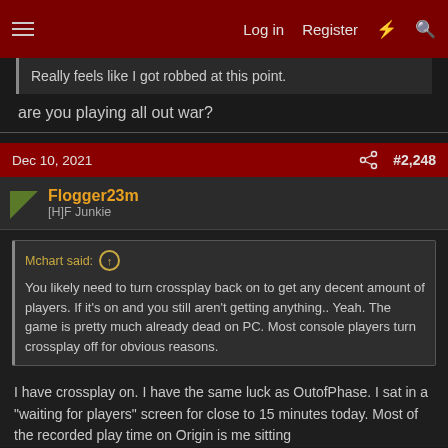Log in  Register
Really feels like I got robbed at this point.
are you playing all out war?
Dec 10, 2021   #2,248
Flogger23m
[H]F Junkie
Mchart said:
You likely need to turn crossplay back on to get any decent amount of players. If it's on and you still aren't getting anything.. Yeah. The game is pretty much already dead on PC. Most console players turn crossplay off for obvious reasons.
I have crossplay on. I have the same luck as OutofPhase. I sat in a "waiting for players" screen for close to 15 minutes today. Most of the recorded play time on Origin is me sitting